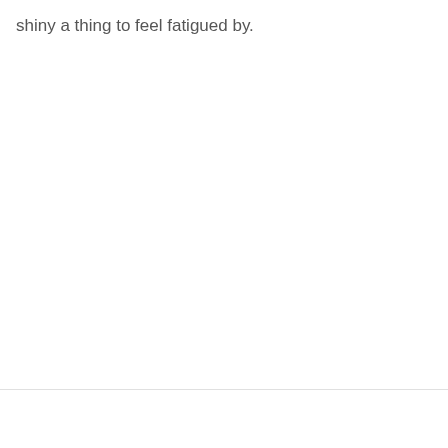shiny a thing to feel fatigued by.